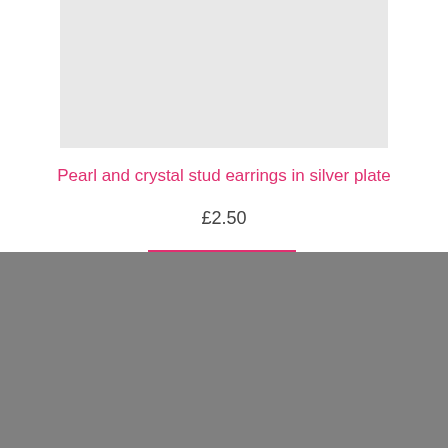[Figure (photo): Product image placeholder area with light grey background for pearl and crystal stud earrings]
Pearl and crystal stud earrings in silver plate
£2.50
This website uses cookies to improve your experience. Privacy Policy
G o t i t